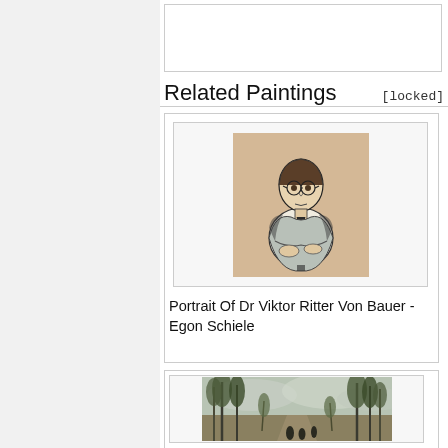Related Paintings [locked]
[Figure (illustration): Portrait Of Dr Viktor Ritter Von Bauer by Egon Schiele — a sketch/drawing of a seated man with glasses, wearing a white shirt, rendered in charcoal/ink on tan paper]
Portrait Of Dr Viktor Ritter Von Bauer - Egon Schiele
[Figure (illustration): Landscape painting showing a tree-lined path or avenue with tall trees and figures walking, muted earthy tones]